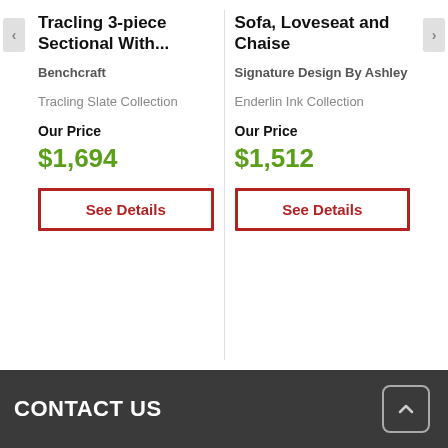Tracling 3-piece Sectional With...
Benchcraft
Tracling Slate Collection
Our Price
$1,694
See Details
Sofa, Loveseat and Chaise
Signature Design By Ashley
Enderlin Ink Collection
Our Price
$1,512
See Details
CONTACT US